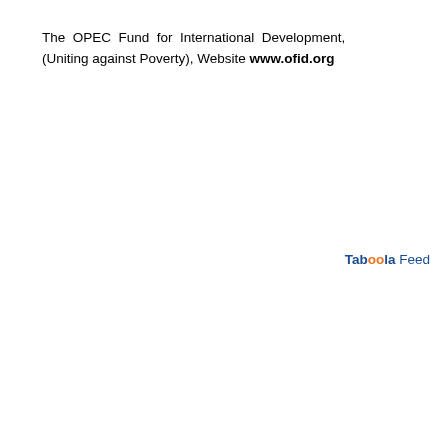The OPEC Fund for International Development, (Uniting against Poverty), Website www.ofid.org
Taboola Feed